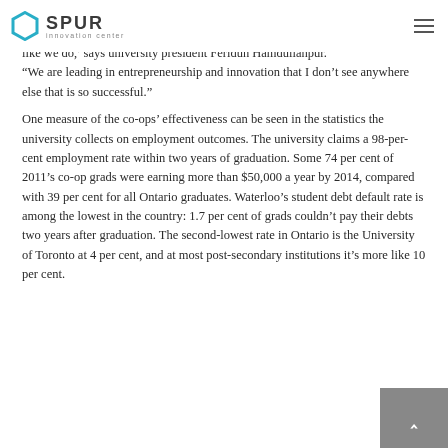SPUR Innovation Center
like we do,' says university president Feridun Hamdullahpur. “We are leading in entrepreneurship and innovation that I don’t see anywhere else that is so successful.”
One measure of the co-ops’ effectiveness can be seen in the statistics the university collects on employment outcomes. The university claims a 98-per-cent employment rate within two years of graduation. Some 74 per cent of 2011’s co-op grads were earning more than $50,000 a year by 2014, compared with 39 per cent for all Ontario graduates. Waterloo’s student debt default rate is among the lowest in the country: 1.7 per cent of grads couldn’t pay their debts two years after graduation. The second-lowest rate in Ontario is the University of Toronto at 4 per cent, and at most post-secondary institutions it’s more like 10 per cent.